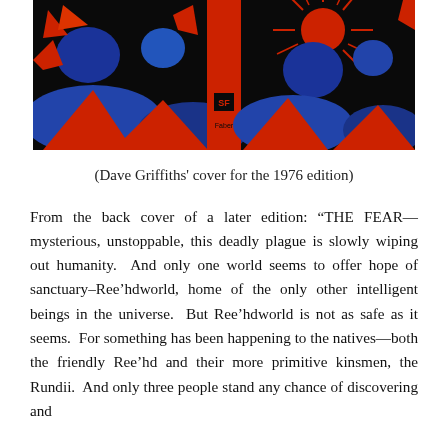[Figure (photo): Book cover photo showing the 1976 edition of a book published by Faber SF imprint, with bold red and blue abstract/figurative artwork by Dave Griffiths. The spine reads 'Robert Holdstock' vertically. The front and back covers feature dramatic red shapes and blue figures against a black background, with a sunburst motif on the right.]
(Dave Griffiths' cover for the 1976 edition)
From the back cover of a later edition: "THE FEAR—mysterious, unstoppable, this deadly plague is slowly wiping out humanity. And only one world seems to offer hope of sanctuary–Ree'hdworld, home of the only other intelligent beings in the universe. But Ree'hdworld is not as safe as it seems. For something has been happening to the natives—both the friendly Ree'hd and their more primitive kinsmen, the Rundii. And only three people stand any chance of discovering and